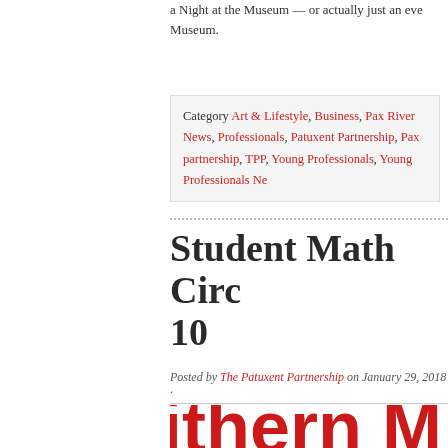a Night at the Museum — or actually just an evening at the Museum.
Category Art & Lifestyle, Business, Pax River News, Professionals, Patuxent Partnership, Pax partnership, TPP, Young Professionals, Young Professionals Ne…
Student Math Circle 10
Posted by The Patuxent Partnership on January 29, 2018
[Figure (logo): Southern Maryland News logo, red bold text 'ithern M' visible (cropped)]